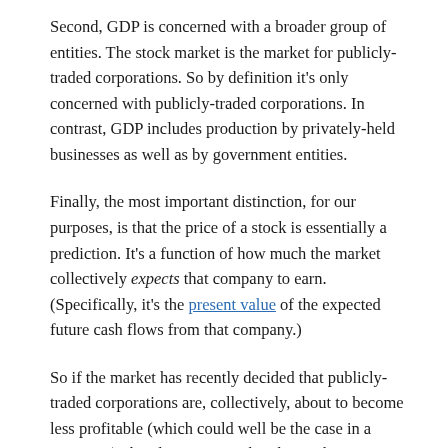Second, GDP is concerned with a broader group of entities. The stock market is the market for publicly-traded corporations. So by definition it's only concerned with publicly-traded corporations. In contrast, GDP includes production by privately-held businesses as well as by government entities.
Finally, the most important distinction, for our purposes, is that the price of a stock is essentially a prediction. It's a function of how much the market collectively expects that company to earn. (Specifically, it's the present value of the expected future cash flows from that company.)
So if the market has recently decided that publicly-traded corporations are, collectively, about to become less profitable (which could well be the case in a recession), that doesn't mean that the market is probably about to go down. It means the market has probably just gone down. (And indeed, it has. As of this writing, the stock market is down about 14% year-to-date.)